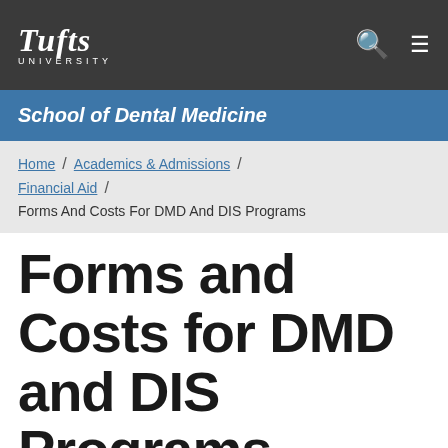[Figure (logo): Tufts University logo with search and menu icons on dark gray navigation bar]
School of Dental Medicine
Home / Academics & Admissions / Financial Aid / Forms And Costs For DMD And DIS Programs
Forms and Costs for DMD and DIS Programs
cation Information and Forms
ial Aid Office provides all students with financial aid applic